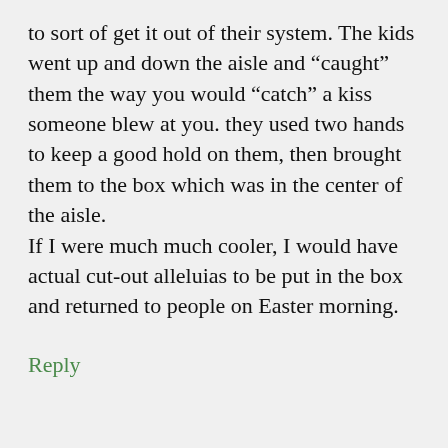to sort of get it out of their system. The kids went up and down the aisle and “caught” them the way you would “catch” a kiss someone blew at you. they used two hands to keep a good hold on them, then brought them to the box which was in the center of the aisle.
If I were much much cooler, I would have actual cut-out alleluias to be put in the box and returned to people on Easter morning.
Reply